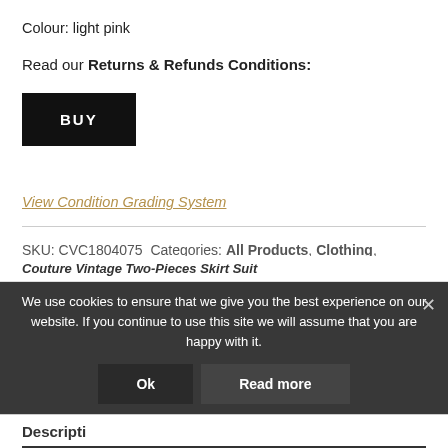Colour: light pink
Read our Returns & Refunds Conditions:
[Figure (other): Black BUY button]
View Condition Grading System
SKU: CVC1804075  Categories: All Products, Clothing, Louis Feraud, SUIT - EVERYDAY  Tag: LOUIS FERAUD
Couture Vintage Two-Pieces Skirt Suit
We use cookies to ensure that we give you the best experience on our website. If you continue to use this site we will assume that you are happy with it.
Description